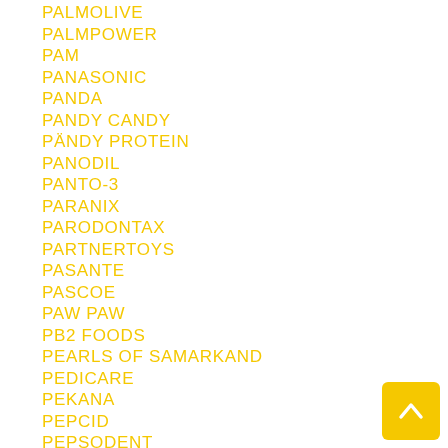PALMOLIVE
PALMPOWER
PAM
PANASONIC
PANDA
PANDY CANDY
PÄNDY PROTEIN
PANODIL
PANTO-3
PARANIX
PARODONTAX
PARTNERTOYS
PASANTE
PASCOE
PAW PAW
PB2 FOODS
PEARLS OF SAMARKAND
PEDICARE
PEKANA
PEPCID
PEPSODENT
PERFECT FIT
PERFECT SHAKER